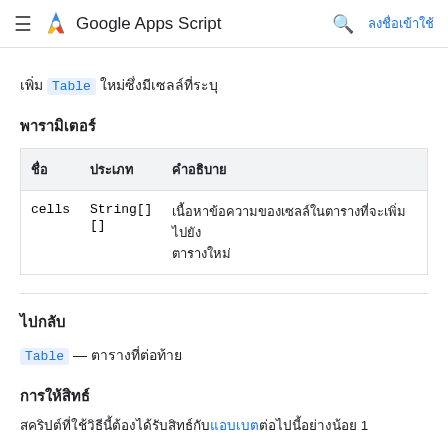Google Apps Script — ลงชื่อเข้าใช้
เพิ่ม Table ใหม่ซึ่งมีเซลล์ที่ระบุ
พารามิเตอร์
| ชื่อ | ประเภท | คำอธิบาย |
| --- | --- | --- |
| cells | String[][] | เนื้อหาข้อความของเซลล์ในตารางที่จะเพิ่มไปยังตารางใหม่ |
ไปกลับ
Table — ตารางที่ต่อท้าย
การให้สิทธ์
สคริปต์ที่ใช้วิธีนี้ต้องได้รับสิทธ์กับแอบเบตต่อไปนี้อย่างน้อย 1